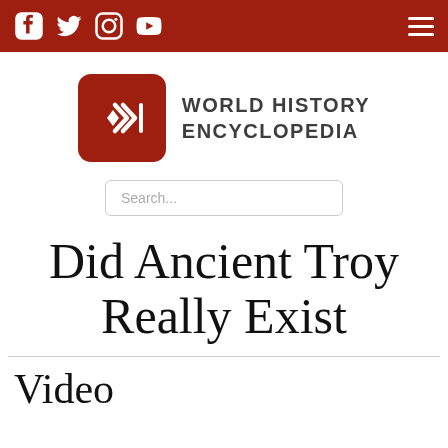World History Encyclopedia – navigation bar with social icons (Facebook, Twitter, Instagram, YouTube) and hamburger menu
[Figure (logo): World History Encyclopedia logo: red rounded-square icon with stylized double-arrow and vertical bar symbol, next to bold uppercase text WORLD HISTORY ENCYCLOPEDIA]
Search...
Did Ancient Troy Really Exist
Video